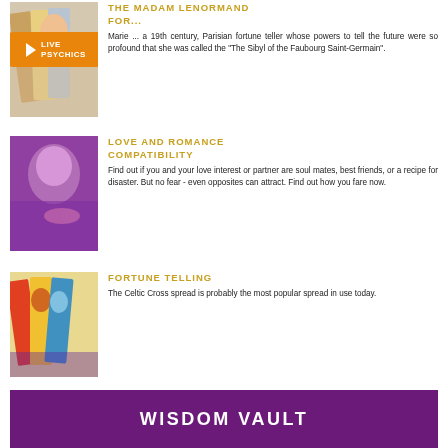[Figure (photo): Tarot cards image with a video play button overlay showing LIVE PSYCHICS]
THE MADAM LENORMAND FOR...
Marie ... a 19th century, Parisian fortune teller whose powers to tell the future were so profound that she was called the "The Sibyl of the Faubourg Saint-Germain".
[Figure (photo): Purple-toned photo of a smiling woman]
LOVE AND ROMANCE COMPATIBILITY
Find out if you and your love interest or partner are soul mates, best friends, or a recipe for disaster. But no fear - even opposites can attract. Find out how you fare now.
[Figure (photo): Tarot cards with colorful illustrated figures]
FORTUNE TELLING
The Celtic Cross spread is probably the most popular spread in use today.
WISDOM VAULT